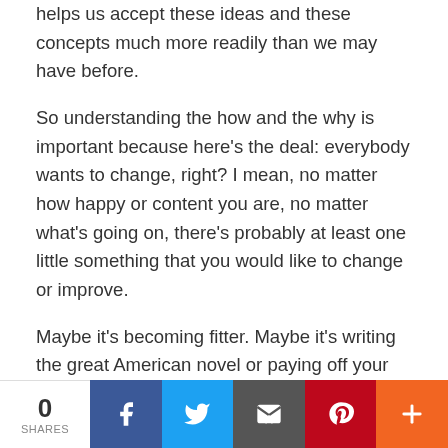helps us accept these ideas and these concepts much more readily than we may have before.
So understanding the how and the why is important because here's the deal: everybody wants to change, right? I mean, no matter how happy or content you are, no matter what's going on, there's probably at least one little something that you would like to change or improve.
Maybe it's becoming fitter. Maybe it's writing the great American novel or paying off your debt. Or maybe you want to enjoy your relationships more.
Here's the big question: Why don't we change? Why don't we get fitter? Why don't we write our
0 SHARES | Facebook | Twitter | Email | Pinterest | More